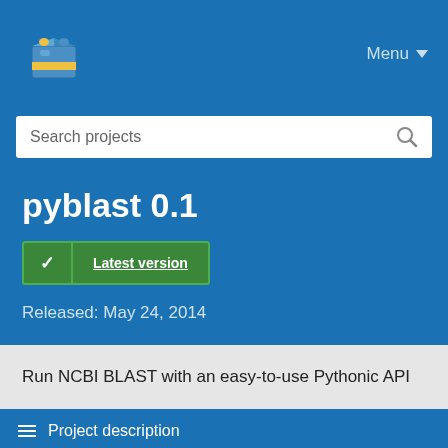[Figure (logo): PyPI logo - colorful package box icon]
Menu ▼
Search projects
pyblast 0.1
✓ Latest version
Released: May 24, 2014
Run NCBI BLAST with an easy-to-use Pythonic API
Project description